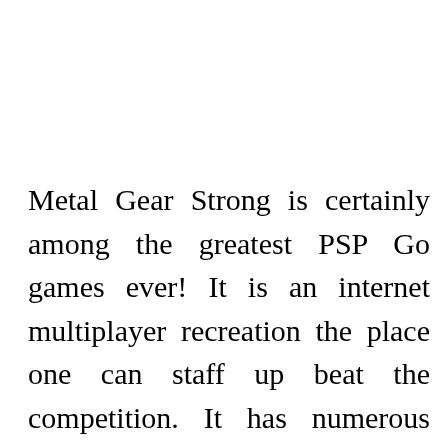Metal Gear Strong is certainly among the greatest PSP Go games ever! It is an internet multiplayer recreation the place one can staff up beat the competition. It has numerous action features which is a third person shooter. Why would someone wish to rip media? Stickman is a well-liked games character made out of one black circle and about 5 black lines. The next item you can pick up to play the